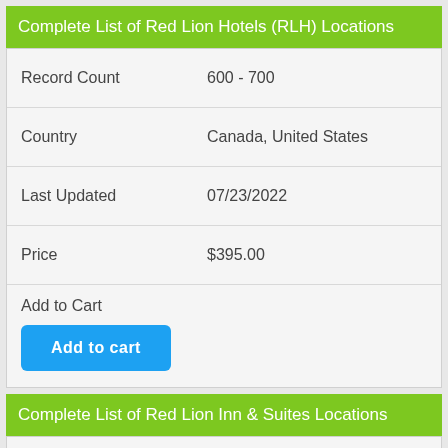Complete List of Red Lion Hotels (RLH) Locations
| Field | Value |
| --- | --- |
| Record Count | 600 - 700 |
| Country | Canada, United States |
| Last Updated | 07/23/2022 |
| Price | $395.00 |
| Add to Cart | Add to cart |
Complete List of Red Lion Inn & Suites Locations
| Field | Value |
| --- | --- |
| Record Count | < 100 |
| Country | Canada, United States |